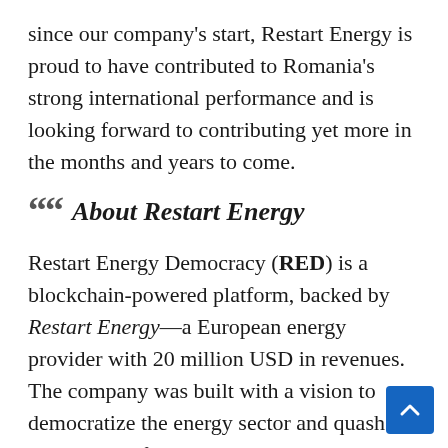since our company's start, Restart Energy is proud to have contributed to Romania's strong international performance and is looking forward to contributing yet more in the months and years to come.
About Restart Energy
Restart Energy Democracy (RED) is a blockchain-powered platform, backed by Restart Energy—a European energy provider with 20 million USD in revenues. The company was built with a vision to democratize the energy sector and quash the dominance of legacy monopolies in the energy world. The company's credentials include a